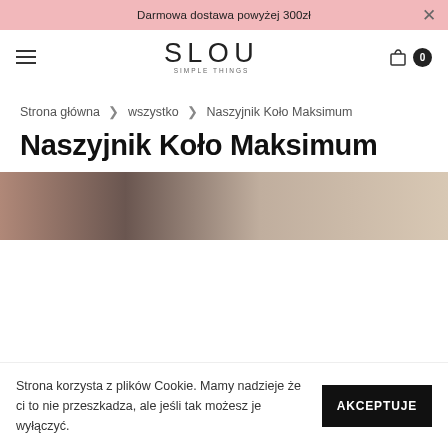Darmowa dostawa powyżej 300zł
[Figure (logo): SLOU SIMPLE THINGS brand logo with hamburger menu and cart icon showing 0 items]
Strona główna > wszystko > Naszyjnik Koło Maksimum
Naszyjnik Koło Maksimum
[Figure (photo): Product photo showing a person wearing the Naszyjnik Koło Maksimum necklace, partially visible, warm tones]
Strona korzysta z plików Cookie. Mamy nadzieje że ci to nie przeszkadza, ale jeśli tak możesz je wyłączyć.
AKCEPTUJE